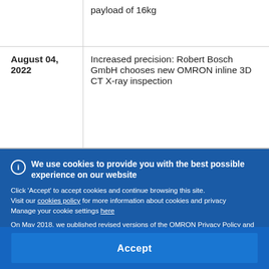| Date | Description |
| --- | --- |
|  | payload of 16kg |
| August 04, 2022 | Increased precision: Robert Bosch GmbH chooses new OMRON inline 3D CT X-ray inspection… |
We use cookies to provide you with the best possible experience on our website
Click 'Accept' to accept cookies and continue browsing this site.
Visit our cookies policy for more information about cookies and privacy
Manage your cookie settings here

On May 2018, we published revised versions of the OMRON Privacy Policy and Cookie Policy. Please read these updated terms by clicking here. Your use of our products and services is subject to these revised terms
Accept